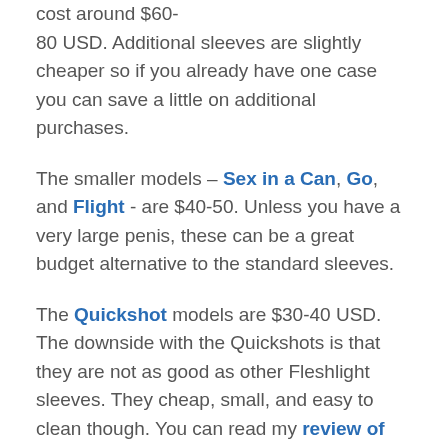cost around $60-80 USD. Additional sleeves are slightly cheaper so if you already have one case you can save a little on additional purchases.
The smaller models – Sex in a Can, Go, and Flight - are $40-50. Unless you have a very large penis, these can be a great budget alternative to the standard sleeves.
The Quickshot models are $30-40 USD. The downside with the Quickshots is that they are not as good as other Fleshlight sleeves. They cheap, small, and easy to clean though. You can read my review of the smallest and cheapest Fleshlight here.
The Flight and Sex In A Can Fleshlight models are